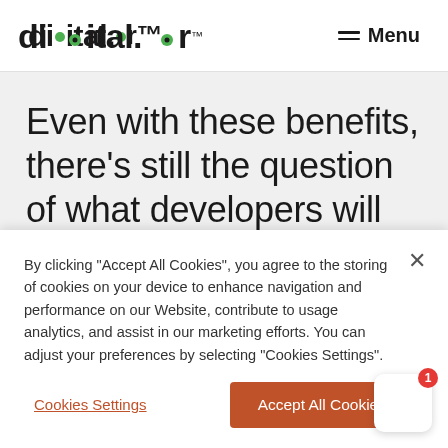digital.ai  Menu
Even with these benefits, there’s still the question of what developers will deliver. Organizations must decide if that’s going to be handing over the container
By clicking "Accept All Cookies", you agree to the storing of cookies on your device to enhance navigation and performance on our Website, contribute to usage analytics, and assist in our marketing efforts. You can adjust your preferences by selecting “Cookies Settings”.
Cookies Settings
Accept All Cookies